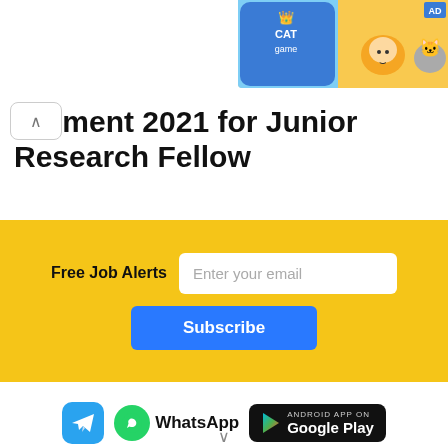[Figure (screenshot): Advertisement banner showing a cat game app with colorful cartoon cats and 'AD' label in top right]
ruitment 2021 for Junior Research Fellow
[Figure (infographic): Yellow subscription bar with Free Job Alerts label, email input field, and blue Subscribe button]
[Figure (logo): Telegram icon, WhatsApp icon and text, Google Play badge, and YouTube Channel subscription banner]